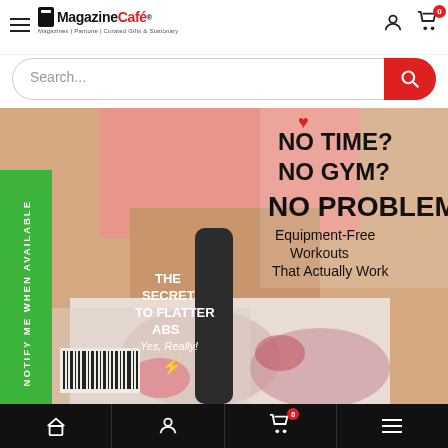[Figure (screenshot): Magazine Café website screenshot showing navigation bar with logo, search bar, and a magazine cover featuring fitness content. Green 'NOTIFY ME WHEN AVAILABLE' sidebar. Bottom navigation bar.]